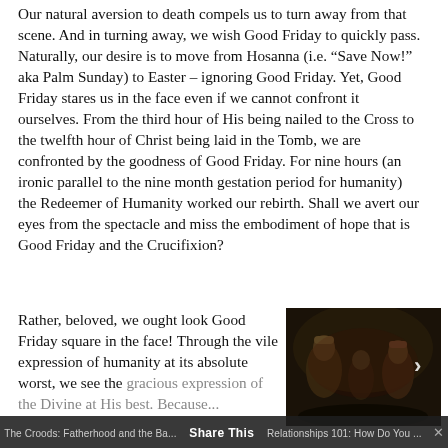Our natural aversion to death compels us to turn away from that scene. And in turning away, we wish Good Friday to quickly pass. Naturally, our desire is to move from Hosanna (i.e. “Save Now!” aka Palm Sunday) to Easter – ignoring Good Friday. Yet, Good Friday stares us in the face even if we cannot confront it ourselves. From the third hour of His being nailed to the Cross to the twelfth hour of Christ being laid in the Tomb, we are confronted by the goodness of Good Friday. For nine hours (an ironic parallel to the nine month gestation period for humanity) the Redeemer of Humanity worked our rebirth. Shall we avert our eyes from the spectacle and miss the embodiment of hope that is Good Friday and the Crucifixion?
Rather, beloved, we ought look Good Friday square in the face! Through the vile expression of humanity at its absolute worst, we see the gracious expression of the Divine at His best. Because...
[Figure (photo): A dark-toned scene showing figures in ancient Roman or period costume, appearing to depict a scene related to the Passion of Christ. The image has a dark, dramatic tone with a right-facing arrow overlay.]
The Croods: Fatherhood and the Ba... Share This Relationships 101: How Do You ...